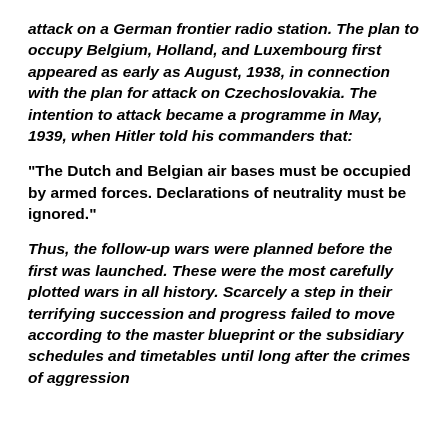attack on a German frontier radio station. The plan to occupy Belgium, Holland, and Luxembourg first appeared as early as August, 1938, in connection with the plan for attack on Czechoslovakia. The intention to attack became a programme in May, 1939, when Hitler told his commanders that:
“The Dutch and Belgian air bases must be occupied by armed forces. Declarations of neutrality must be ignored.”
Thus, the follow-up wars were planned before the first was launched. These were the most carefully plotted wars in all history. Scarcely a step in their terrifying succession and progress failed to move according to the master blueprint or the subsidiary schedules and timetables until long after the crimes of aggression